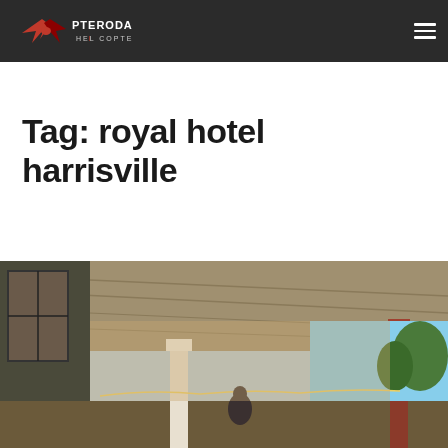Pterodactyl Helicopters
Tag: royal hotel harrisville
[Figure (photo): Exterior porch/veranda of the Royal Hotel Harrisville, showing colonial-style architecture with white columns, timber ceiling, red railing, and garden views under a blue sky]